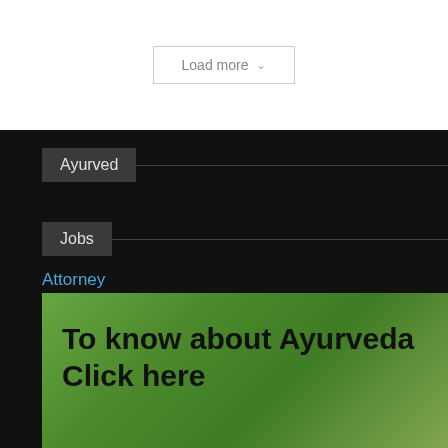Load more ▾
Ayurved
Jobs
Attorney
[Figure (photo): Green herbal/ayurvedic background image with text overlay 'To know about Ayurveda Click here']
To know about Ayurveda Click here